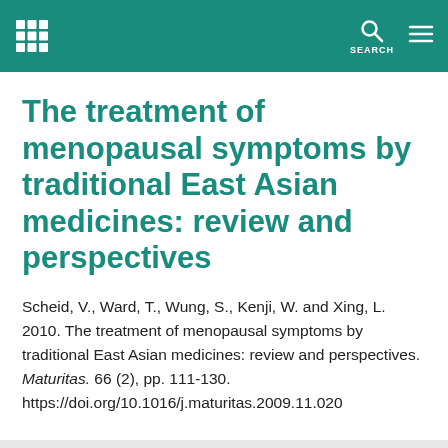SEARCH
The treatment of menopausal symptoms by traditional East Asian medicines: review and perspectives
Scheid, V., Ward, T., Wung, S., Kenji, W. and Xing, L. 2010. The treatment of menopausal symptoms by traditional East Asian medicines: review and perspectives. Maturitas. 66 (2), pp. 111-130. https://doi.org/10.1016/j.maturitas.2009.11.020